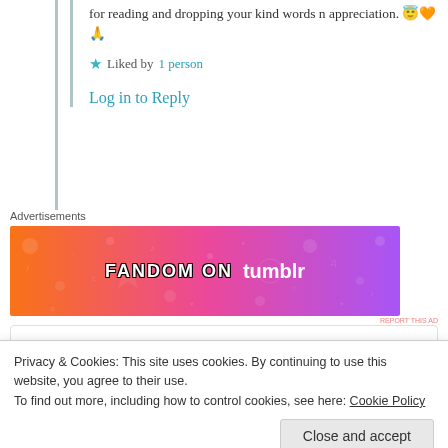for reading and dropping your kind words n appreciation. 😇🧡🙏
★ Liked by 1 person
Log in to Reply
Advertisements
[Figure (other): Fandom on Tumblr advertisement banner with orange to purple gradient]
REPORT THIS AD
Yernasia Quorelios
9th Jun 2021 at 11:38 am
Privacy & Cookies: This site uses cookies. By continuing to use this website, you agree to their use.
To find out more, including how to control cookies, see here: Cookie Policy
Close and accept